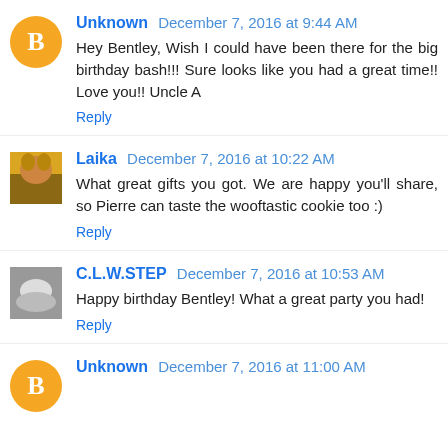Unknown December 7, 2016 at 9:44 AM
Hey Bentley, Wish I could have been there for the big birthday bash!!! Sure looks like you had a great time!! Love you!! Uncle A
Reply
Laika December 7, 2016 at 10:22 AM
What great gifts you got. We are happy you'll share, so Pierre can taste the wooftastic cookie too :)
Reply
C.L.W.STEP December 7, 2016 at 10:53 AM
Happy birthday Bentley! What a great party you had!
Reply
Unknown December 7, 2016 at 11:00 AM